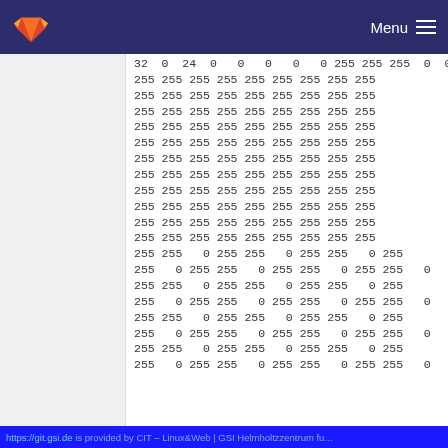GitLab — Menu
32 0 24 0 0 0 0 0 255 255 255 0 0
255 255 255 255 255 255 255 255 255
255 255 255 255 255 255 255 255 255
255 255 255 255 255 255 255 255 255
255 255 255 255 255 255 255 255 255
255 255 255 255 255 255 255 255 255
255 255 255 255 255 255 255 255 255
255 255 255 255 255 255 255 255 255
255 255 255 255 255 255 255 255 255
255 255 255 255 255 255 255 255 255
255 255 255 255 255 255 255 255 255
255 255 255 255 255 255 255 255 255
255 255 0 255 255 0 255 255 0 255
255 0 255 255 0 255 255 0 255 255 0
255 255 0 255 255 0 255 255 0 255
255 0 255 255 0 255 255 0 255 255 0
255 255 0 255 255 0 255 255 0 255
255 0 255 255 0 255 255 0 255 255 0
255 255 0 255 255 0 255 255 0 255
255 0 255 255 0 255 255 0 255 255 0
https://git.gsi.de is provided by CIT – Linux&Web | GSI Helmholtzzentrum fu...